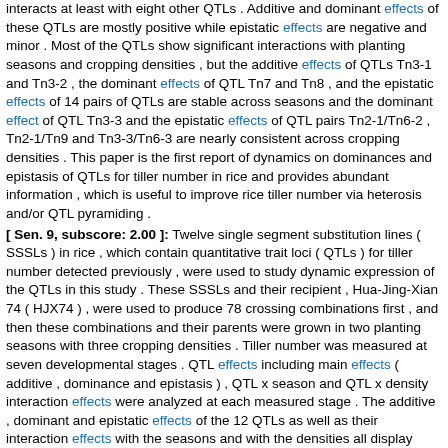interacts at least with eight other QTLs . Additive and dominant effects of these QTLs are mostly positive while epistatic effects are negative and minor . Most of the QTLs show significant interactions with planting seasons and cropping densities , but the additive effects of QTLs Tn3-1 and Tn3-2 , the dominant effects of QTL Tn7 and Tn8 , and the epistatic effects of 14 pairs of QTLs are stable across seasons and the dominant effect of QTL Tn3-3 and the epistatic effects of QTL pairs Tn2-1/Tn6-2 , Tn2-1/Tn9 and Tn3-3/Tn6-3 are nearly consistent across cropping densities . This paper is the first report of dynamics on dominances and epistasis of QTLs for tiller number in rice and provides abundant information , which is useful to improve rice tiller number via heterosis and/or QTL pyramiding .
[ Sen. 9, subscore: 2.00 ]: Twelve single segment substitution lines ( SSSLs ) in rice , which contain quantitative trait loci ( QTLs ) for tiller number detected previously , were used to study dynamic expression of the QTLs in this study . These SSSLs and their recipient , Hua-Jing-Xian 74 ( HJX74 ) , were used to produce 78 crossing combinations first , and then these combinations and their parents were grown in two planting seasons with three cropping densities . Tiller number was measured at seven developmental stages . QTL effects including main effects ( additive , dominance and epistasis ) , QTL x season and QTL x density interaction effects were analyzed at each measured stage . The additive , dominant and epistatic effects of the 12 QTLs as well as their interaction effects with the seasons and with the densities all display dynamic changes with the development . Eight QTLs are detected with significant additive effects and/or additive x season and/or additive x density interaction effects at least at one developmental stage , and all QTLs have significant dominant and epistatic effects and/or interaction effects involved in . For most of the QTLs dominant effects are much bigger than additive effects , showing overdominance . Each QTL interacts at least with eight other QTLs . Additive and dominant effects